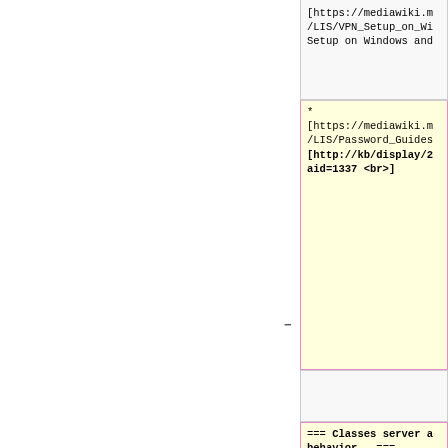[https://mediawiki.m.../LIS/VPN_Setup_on_Wi... Setup on Windows and...
* [https://mediawiki.m.../LIS/Password_Guides ... [http://kb/display/2... aid=1337 <br>]
=== Classes server a... behavior ===
Teachers of a class ... contents of the Drop... Students can only se... they copy or save un... professor files them... can copy/paste, dra...